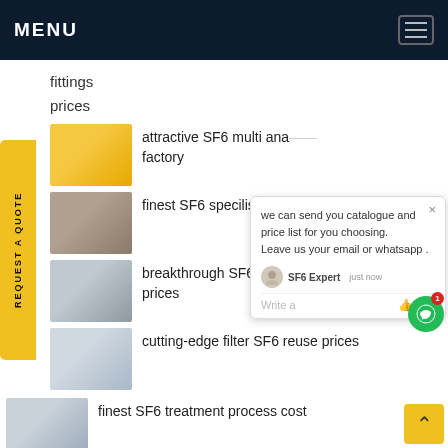MENU
fittings
prices
attractive SF6 multi ana factory
finest SF6 specilist emiss
breakthrough SF6 recyc prices
cutting-edge filter SF6 reuse prices
finest SF6 treatment process cost
REQUEST A QUOTE
we can send you catalogue and price list for you choosing.
Leave us your email or whatsapp .
SF6 Expert    just now
Write a